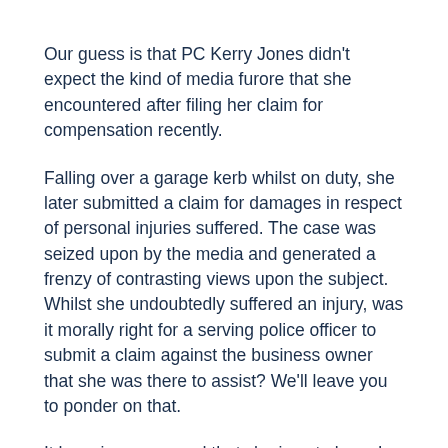Our guess is that PC Kerry Jones didn't expect the kind of media furore that she encountered after filing her claim for compensation recently.
Falling over a garage kerb whilst on duty, she later submitted a claim for damages in respect of personal injuries suffered. The case was seized upon by the media and generated a frenzy of contrasting views upon the subject. Whilst she undoubtedly suffered an injury, was it morally right for a serving police officer to submit a claim against the business owner that she was there to assist? We'll leave you to ponder on that.
It has since emerged that she is not alone. In fact, in the last 4 years, almost 8,000 successful claims have been submitted by Police officers. Note 'successful',